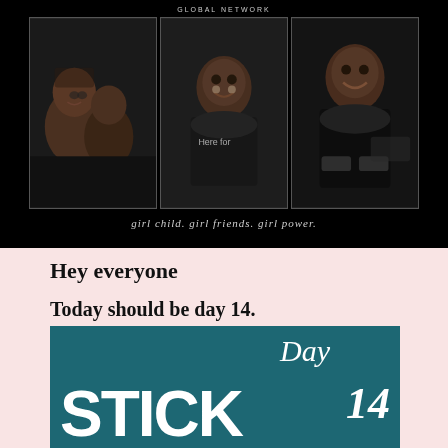GLOBAL NETWORK
[Figure (photo): Three black-and-white photos in a strip showing women and girls at an event: left photo shows young girls looking up, center shows a smiling woman in a 'Here for' t-shirt, right shows a smiling woman clapping.]
girl child. girl friends. girl power.
Hey everyone
Today should be day 14.
[Figure (infographic): Teal/dark cyan rectangle with white text. Handwritten-style 'Day' in top right, large bold 'STICK' on bottom left, handwritten-style '14' on bottom right.]